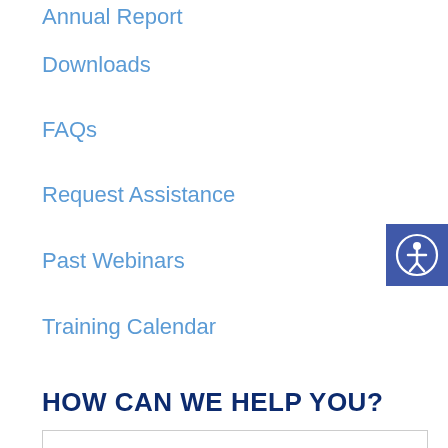Annual Report
Downloads
FAQs
Request Assistance
Past Webinars
Training Calendar
HOW CAN WE HELP YOU?
[Figure (other): Accessibility icon button - person figure in circle on blue background]